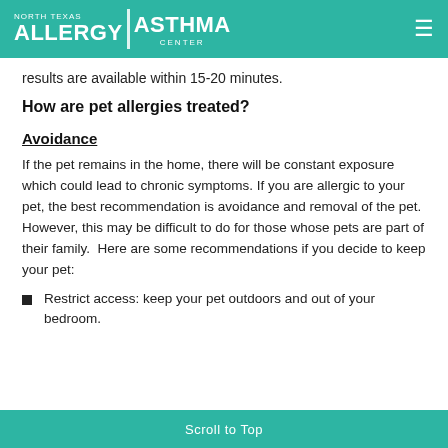NORTH TEXAS ALLERGY ASTHMA CENTER
results are available within 15-20 minutes.
How are pet allergies treated?
Avoidance
If the pet remains in the home, there will be constant exposure which could lead to chronic symptoms. If you are allergic to your pet, the best recommendation is avoidance and removal of the pet.  However, this may be difficult to do for those whose pets are part of their family.  Here are some recommendations if you decide to keep your pet:
Restrict access: keep your pet outdoors and out of your bedroom.
Scroll to Top